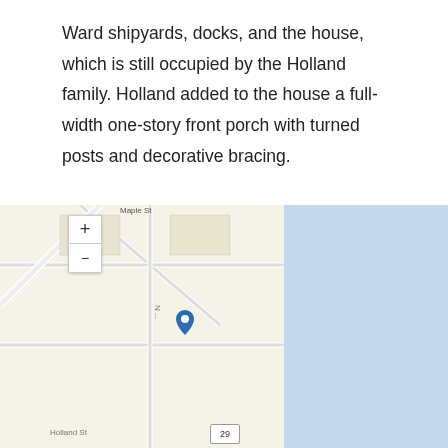Ward shipyards, docks, and the house, which is still occupied by the Holland family. Holland added to the house a full-width one-story front porch with turned posts and decorative bracing.
[Figure (map): Interactive street map showing the location with a pin marker, zoom controls (+/-), and a map expand button. Street labels include 'Maple St' and 'Holland St'. A cookie consent banner overlays the bottom portion of the map reading 'This website uses cookies to ensure you get the best experience on our website.' with a 'Got it!' button. A page number badge shows '29'.]